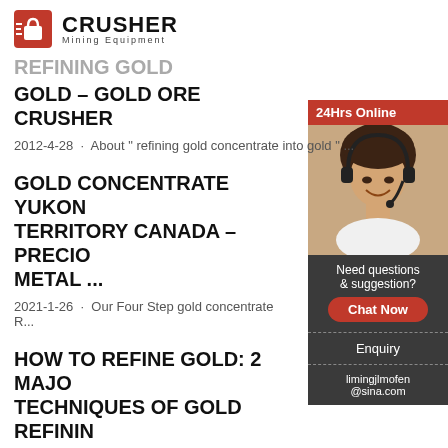[Figure (logo): Crusher Mining Equipment logo with red shopping bag icon and bold CRUSHER text]
REFINING GOLD CONCENTRATE INTO GOLD – GOLD ORE CRUSHER
2012-4-28 · About " refining gold concentrate into gold " ...
GOLD CONCENTRATE YUKON TERRITORY CANADA – PRECIOUS METAL ...
2021-1-26 · Our Four Step gold concentrate R...
HOW TO REFINE GOLD: 2 MAJOR TECHNIQUES OF GOLD REFINING...
2 日前 · Two (2) major techniques for refining go...
[Figure (photo): 24Hrs Online chat widget with photo of woman wearing headset, Need questions & suggestion? Chat Now button, Enquiry section, limingjlmofen@sina.com email]